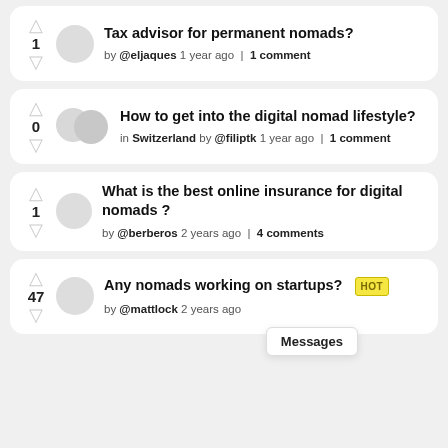Tax advisor for permanent nomads? by @eljaques 1 year ago | 1 comment — votes: 1
How to get into the digital nomad lifestyle? in Switzerland by @filiptk 1 year ago | 1 comment — votes: 0
What is the best online insurance for digital nomads? by @berberos 2 years ago | 4 comments — votes: 1
Any nomads working on startups? HOT by @mattlock 2 years ago — votes: 47